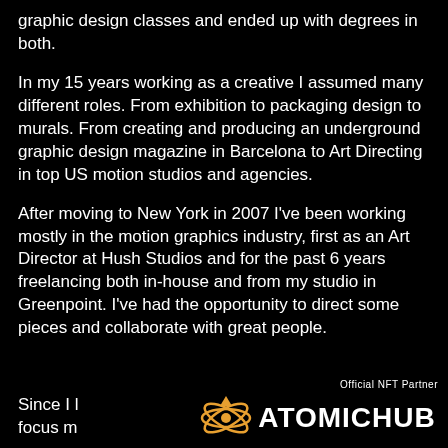graphic design classes and ended up with degrees in both.
In my 15 years working as a creative I assumed many different roles. From exhibition to packaging design to murals. From creating and producing an underground graphic design magazine in Barcelona to Art Directing in top US motion studios and agencies.
After moving to New York in 2007 I've been working mostly in the motion graphics industry, first as an Art Director at Hush Studios and for the past 6 years freelancing both in-house and from my studio in Greenpoint. I've had the opportunity to direct some pieces and collaborate with great people.
Since I l
focus m
[Figure (logo): AtomicHub logo with orbital icon and 'Official NFT Partner' text above]